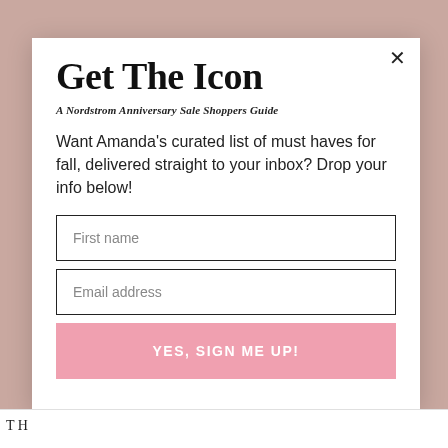Get The Icon
A Nordstrom Anniversary Sale Shoppers Guide
Want Amanda's curated list of must haves for fall, delivered straight to your inbox? Drop your info below!
First name
Email address
YES, SIGN ME UP!
T H